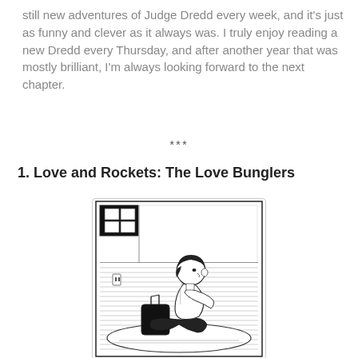still new adventures of Judge Dredd every week, and it's just as funny and clever as it always was. I truly enjoy reading a new Dredd every Thursday, and after another year that was mostly brilliant, I'm always looking forward to the next chapter.
***
1. Love and Rockets: The Love Bunglers
[Figure (illustration): Black and white comic book illustration of a young woman with short dark hair sitting cross-legged on what appears to be a mattress or floor cushion, with a bag or object in front of her. The room has striped floor/wall details and a window in the upper left corner.]